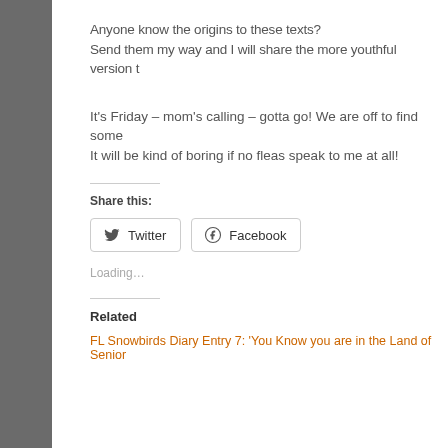Anyone know the origins to these texts?
Send them my way and I will share the more youthful version t
It's Friday – mom's calling – gotta go! We are off to find some
It will be kind of boring if no fleas speak to me at all!
Share this:
Twitter    Facebook
Loading…
Related
FL Snowbirds Diary Entry 7: 'You Know you are in the Land of Senior